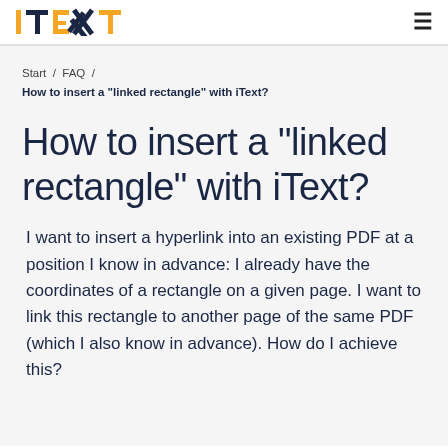iText (logo)
Start / FAQ / How to insert a "linked rectangle" with iText?
How to insert a "linked rectangle" with iText?
I want to insert a hyperlink into an existing PDF at a position I know in advance: I already have the coordinates of a rectangle on a given page. I want to link this rectangle to another page of the same PDF (which I also know in advance). How do I achieve this?